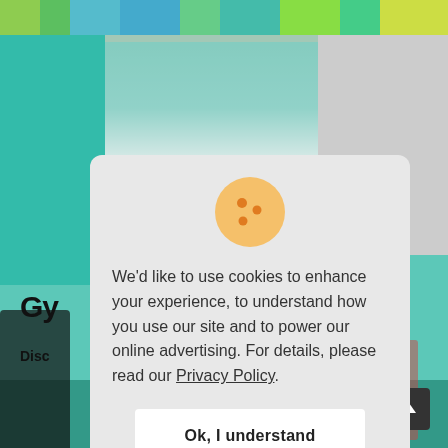[Figure (screenshot): Background screenshot of a gym/sports equipment store with colorful balls and equipment on shelves, teal-colored walls, and a partial figure in workout clothes on the left side.]
[Figure (illustration): Cookie consent icon — a round golden/orange cookie with darker orange chocolate chip dots on it.]
We'd like to use cookies to enhance your experience, to understand how you use our site and to power our online advertising. For details, please read our Privacy Policy.
Ok, I understand